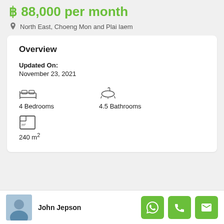฿ 88,000 per month
North East, Choeng Mon and Plai laem
Overview
Updated On: November 23, 2021
4 Bedrooms
4.5 Bathrooms
240 m²
John Jepson